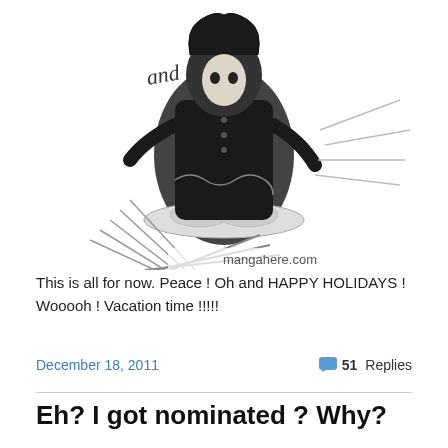[Figure (illustration): Black and white manga-style illustration of a girl in a frilly dress with 'and' text visible and 'mangahere.com' watermark at bottom]
This is all for now. Peace ! Oh and HAPPY HOLIDAYS ! Wooooh ! Vacation time !!!!!
December 18, 2011    51 Replies
Eh? I got nominated ? Why?
Hello ! Here  I am again!
[Figure (photo): Handwritten signature on lined paper: 'Renx Kyrko Iglesias' with a heart]